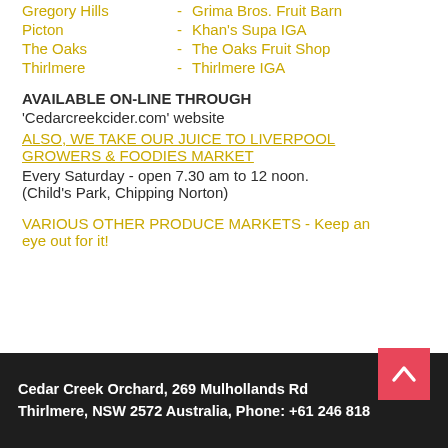Gregory Hills - Grima Bros. Fruit Barn
Picton - Khan's Supa IGA
The Oaks - The Oaks Fruit Shop
Thirlmere - Thirlmere IGA
AVAILABLE ON-LINE THROUGH
'Cedarcreekcider.com'  website
ALSO, WE TAKE OUR JUICE TO LIVERPOOL GROWERS & FOODIES  MARKET
Every Saturday - open 7.30 am to 12 noon. (Child's Park, Chipping Norton)
VARIOUS OTHER PRODUCE MARKETS - Keep an eye out for it!
Cedar Creek Orchard, 269 Mulhollands Rd Thirlmere, NSW 2572 Australia, Phone: +61 246 818